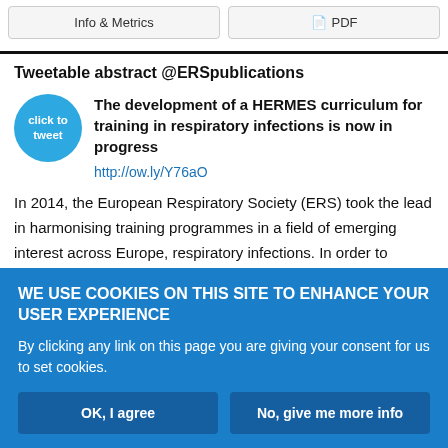Info & Metrics   PDF
Tweetable abstract @ERSpublications
The development of a HERMES curriculum for training in respiratory infections is now in progress
http://ow.ly/Y76aO
In 2014, the European Respiratory Society (ERS) took the lead in harmonising training programmes in a field of emerging interest across Europe, respiratory infections. In order to establish defined
WE USE COOKIES ON THIS SITE TO ENHANCE YOUR USER EXPERIENCE
By clicking any link on this page you are giving your consent for us to set cookies.
OK, I agree
No, give me more info